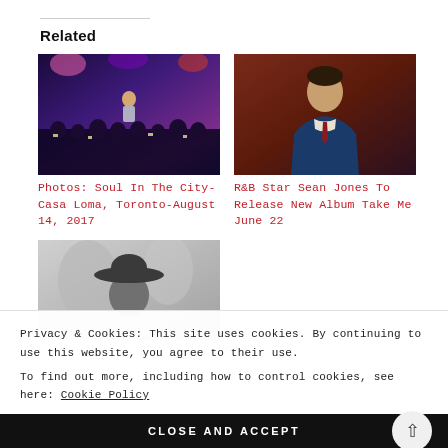Related
[Figure (photo): Concert crowd scene with performer on stage, colorful purple/blue lighting, audience with phones raised]
Photos: Soul In The City- Casa Loma, Toronto-August 14, 2017
[Figure (photo): Man in blue suit standing against dark red/brown background, portrait style]
R&B Star Sean Jones To Release New Album Take Me June 22
[Figure (photo): Person wearing a wide-brimmed hat, black and white/grayscale photo]
Privacy & Cookies: This site uses cookies. By continuing to use this website, you agree to their use.
To find out more, including how to control cookies, see here: Cookie Policy
CLOSE AND ACCEPT